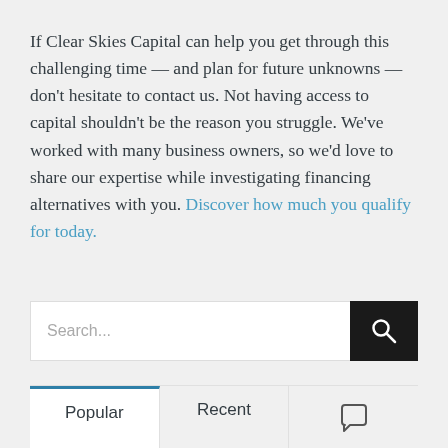If Clear Skies Capital can help you get through this challenging time — and plan for future unknowns — don't hesitate to contact us. Not having access to capital shouldn't be the reason you struggle. We've worked with many business owners, so we'd love to share our expertise while investigating financing alternatives with you. Discover how much you qualify for today.
Search...
Popular
Recent